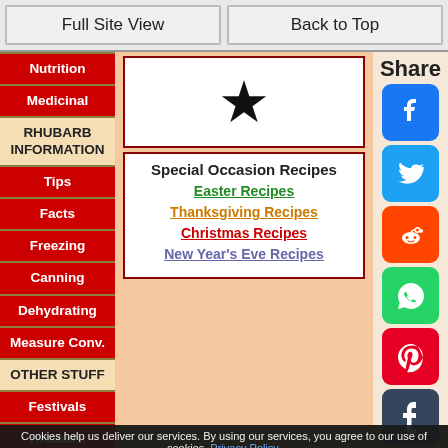Full Site View | Back to Top
Nutrition
Medicinal
RHUBARB INFORMATION
Tips
Facts
Freezing
Canning
Dehydrating
Measure Conv.
OTHER STUFF
Festivals
Rhubarb Questions
Lil' Rhubarb Shop
[Figure (other): Star rating icon - a large black star symbol in a white box with dark red border]
Special Occasion Recipes
Easter Recipes
Thanksgiving Recipes
Christmas Recipes
New Year's Eve Recipes
Share
[Figure (other): Social media share buttons: Facebook, Twitter, Reddit, WhatsApp, Pinterest, Tumblr]
Cookies help us deliver our services. By using our services, you agree to our use of cookies. Privacy Policy. Agree and Continue